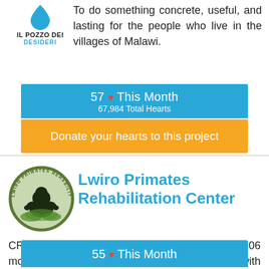[Figure (logo): Il Pozzo dei Desideri logo with water drop icon and text]
To do something concrete, useful, and lasting for the people who live in the villages of Malawi.
57 ❤ This Month
67,984 Total Hearts
Donate your hearts to this project
[Figure (logo): Lwiro Primates Rehabilitation Center circular logo with gorilla silhouette]
Lwiro Primates Rehabilitation Center
CRPL takes care of 92 chimpanzees and 106 monkeys of 13 different species, together with parrots, turtles and a porcupine.
55 ❤ This Month